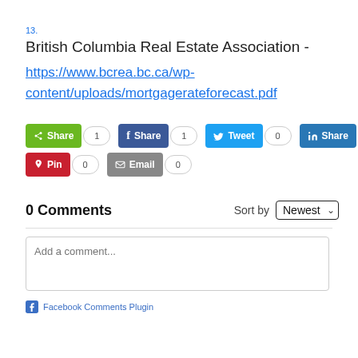13.
British Columbia Real Estate Association -
https://www.bcrea.bc.ca/wp-content/uploads/mortgagerateforecast.pdf
[Figure (other): Social share buttons: Share (1), Facebook Share (1), Tweet (0), LinkedIn Share (0), Pinterest Pin (0), Email (0)]
0 Comments
Sort by Newest
Add a comment...
Facebook Comments Plugin